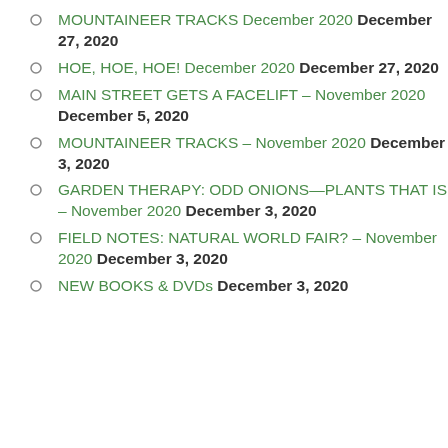MOUNTAINEER TRACKS December 2020 December 27, 2020
HOE, HOE, HOE! December 2020 December 27, 2020
MAIN STREET GETS A FACELIFT – November 2020 December 5, 2020
MOUNTAINEER TRACKS – November 2020 December 3, 2020
GARDEN THERAPY: ODD ONIONS—PLANTS THAT IS – November 2020 December 3, 2020
FIELD NOTES: NATURAL WORLD FAIR? – November 2020 December 3, 2020
NEW BOOKS & DVDs December 3, 2020